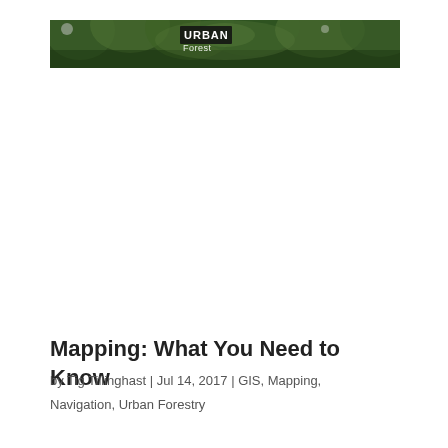[Figure (photo): Header banner image showing trees/forest with 'URBAN Forest' text overlay in white/black on a dark green forest background]
Mapping: What You Need to Know
by Tig Tillinghast | Jul 14, 2017 | GIS, Mapping, Navigation, Urban Forestry